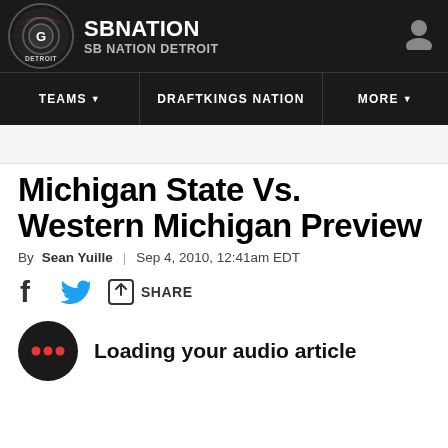SB NATION / SB NATION DETROIT
TEAMS | DRAFTKINGS NATION | MORE
Michigan State Vs. Western Michigan Preview
By Sean Yuille | Sep 4, 2010, 12:41am EDT
SHARE
Loading your audio article